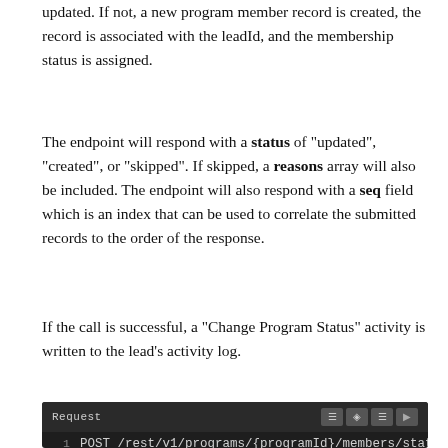updated. If not, a new program member record is created, the record is associated with the leadId, and the membership status is assigned.
The endpoint will respond with a status of "updated", "created", or "skipped". If skipped, a reasons array will also be included. The endpoint will also respond with a seq field which is an index that can be used to correlate the submitted records to the order of the response.
If the call is successful, a "Change Program Status" activity is written to the lead's activity log.
[Figure (screenshot): Code block showing a POST request: POST /rest/v1/programs/{programId}/members/stat with a Request header bar and icon buttons]